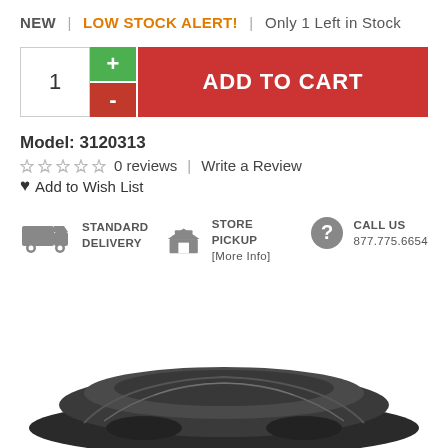NEW | LOW STOCK ALERT! | Only 1 Left in Stock
[Figure (screenshot): Add to cart UI with quantity selector showing 1, green plus button, red minus button, and red ADD TO CART button]
Model: 3120313
☆ ☆ ☆ ☆ ☆ 0 reviews | Write a Review
♥ Add to Wish List
STANDARD DELIVERY | STORE PICKUP [More Info] | CALL US 877.775.6654
[Figure (photo): A car covered with a dark gray car cover, bottom portion of image]